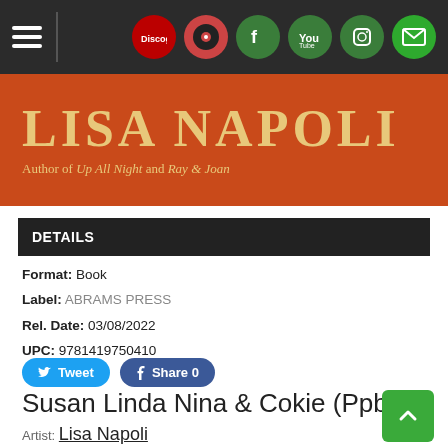Navigation bar with hamburger menu and social icons: Discogs, vinyl, Facebook, YouTube, Instagram, email
[Figure (illustration): Orange banner with author name LISA NAPOLI in gold serif letters, subtitle: Author of Up All Night and Ray & Joan]
DETAILS
Format: Book
Label: ABRAMS PRESS
Rel. Date: 03/08/2022
UPC: 9781419750410
Tweet  Share 0
Susan Linda Nina & Cokie (Ppbk)
Artist: Lisa Napoli
Format: Book